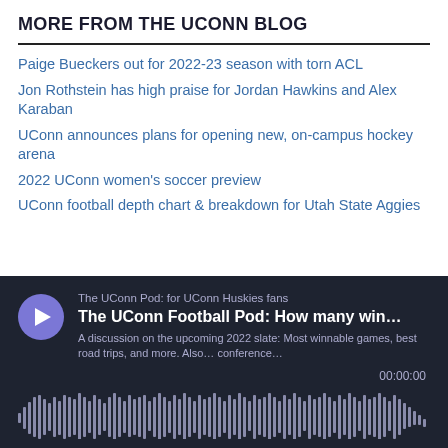MORE FROM THE UCONN BLOG
Paige Bueckers out for 2022-23 season with torn ACL
Jon Rothstein has high praise for Jordan Hawkins and Alex Karaban
UConn announces plans for opening new, on-campus hockey arena
2022 UConn women's soccer preview
UConn football depth chart & breakdown for Utah State Aggies
[Figure (other): Podcast player widget showing 'The UConn Pod: for UConn Huskies fans' with episode title 'The UConn Football Pod: How many win...' and description 'A discussion on the upcoming 2022 slate: Most winnable games, best road trips, and more. Also... conference...' with timestamp 00:00:00 and audio waveform visualization.]